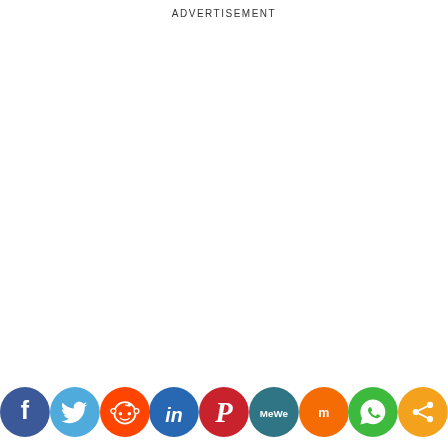ADVERTISEMENT
[Figure (logo): Row of social media sharing icons: Facebook (dark blue), Twitter (light blue), Reddit (orange), LinkedIn (dark blue), Pinterest (dark red), MeWe (teal), Mix (orange), WhatsApp (green), Share (orange)]